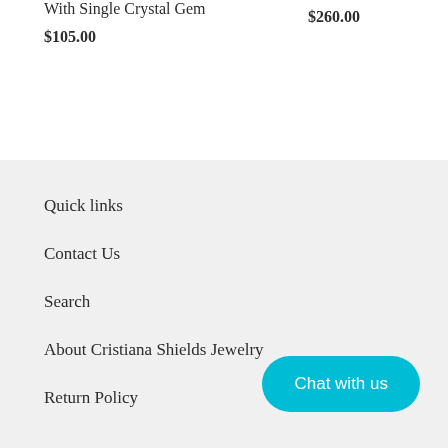With Single Crystal Gem
$260.00
$105.00
Quick links
Contact Us
Search
About Cristiana Shields Jewelry
Return Policy
Chat with us